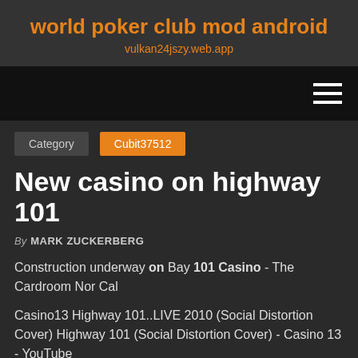world poker club mod android
vulkan24jszy.web.app
New casino on highway 101
By MARK ZUCKERBERG
Construction underway on Bay 101 Casino - The Cardroom Nor Cal
Casino13 Highway 101..LIVE 2010 (Social Distortion Cover) Highway 101 (Social Distortion Cover) - Casino 13 - YouTube